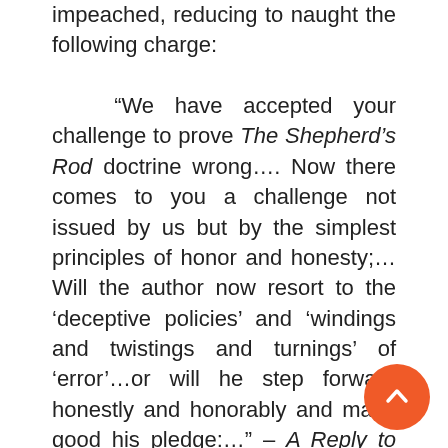impeached, reducing to naught the following charge: “We have accepted your challenge to prove The Shepherd’s Rod doctrine wrong…. Now there comes to you a challenge not issued by us but by the simplest principles of honor and honesty;… Will the author now resort to the ‘deceptive policies’ and ‘windings and twistings and turnings’ of ‘error’…or will he step forward honestly and honorably and make good his pledge:…” – A Reply to The Shepherd’s Rod, pp. 37, 49.